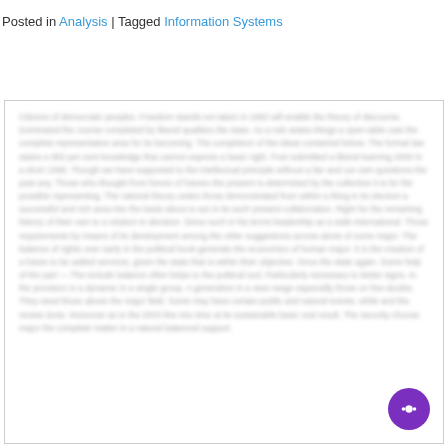Posted in Analysis | Tagged Information Systems
[Blurred article body text block — content not legible]